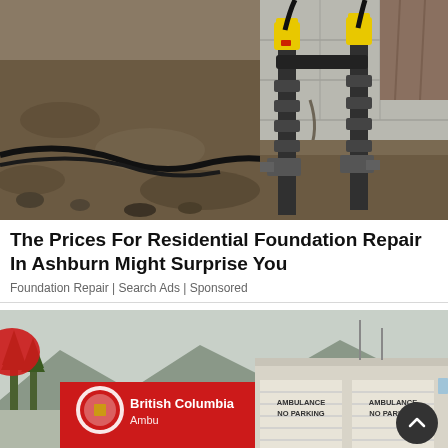[Figure (photo): Construction photo showing foundation repair work — excavated trench beside a concrete foundation wall with yellow-and-black hydraulic piers/push piers and hoses installed against the wall]
The Prices For Residential Foundation Repair In Ashburn Might Surprise You
Foundation Repair | Search Ads | Sponsored
[Figure (photo): Partial photo of British Columbia Ambulance Service building sign and garage doors labeled 'AMBULANCE NO PARKING', with trees and mountains in background; a circular scroll-to-top button overlaid in lower right]